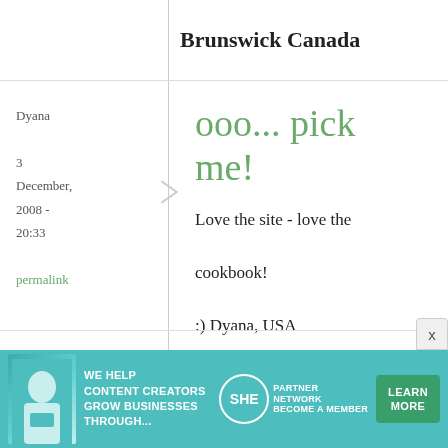Brunswick Canada
Dyana
3 December, 2008 - 20:33
permalink
ooo... pick me!
Love the site - love the cookbook!

:) Dyana, USA
silvia
3
i've been
[Figure (infographic): Advertisement banner: SHE Media Partner Network - We help content creators grow businesses through... Learn More button]